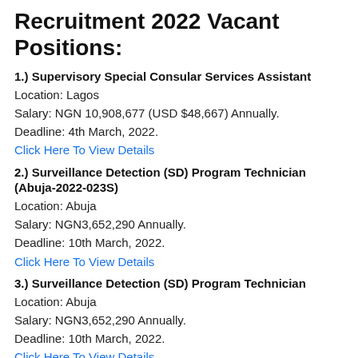Recruitment 2022 Vacant Positions:
1.) Supervisory Special Consular Services Assistant
Location: Lagos
Salary: NGN 10,908,677 (USD $48,667) Annually.
Deadline: 4th March, 2022.
Click Here To View Details
2.) Surveillance Detection (SD) Program Technician (Abuja-2022-023S)
Location: Abuja
Salary: NGN3,652,290 Annually.
Deadline: 10th March, 2022.
Click Here To View Details
3.) Surveillance Detection (SD) Program Technician
Location: Abuja
Salary: NGN3,652,290 Annually.
Deadline: 10th March, 2022.
Click Here To View Details
3.) Registered Nurse
Location: Abuja
Salary: NGN10,908,677 (USD4,667) Annually.
Deadline: 1st March, 2022.
Click Here To View Details